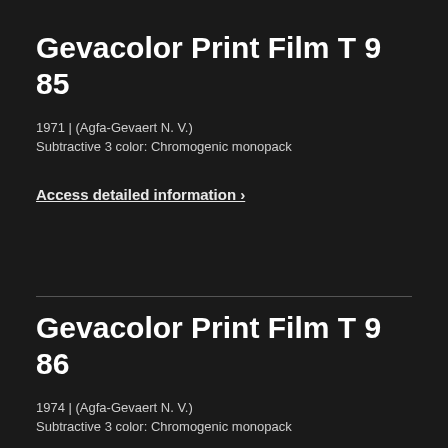Gevacolor Print Film T 9 85
1971 | (Agfa-Gevaert N. V.)
Subtractive 3 color: Chromogenic monopack
Access detailed information ›
Gevacolor Print Film T 9 86
1974 | (Agfa-Gevaert N. V.)
Subtractive 3 color: Chromogenic monopack